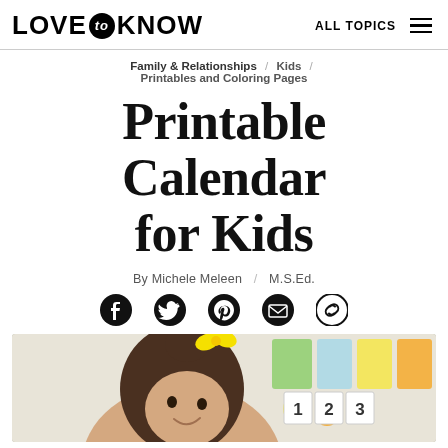LOVE to KNOW | ALL TOPICS
Family & Relationships / Kids / Printables and Coloring Pages
Printable Calendar for Kids
By Michele Meleen / M.S.Ed.
[Figure (other): Social share icons: Facebook, Twitter, Pinterest, Email, Link]
[Figure (photo): A young girl with a yellow bow in her hair, smiling, holding number cards 1 2 3 in front of a colorful background with balloons and geometric shapes.]